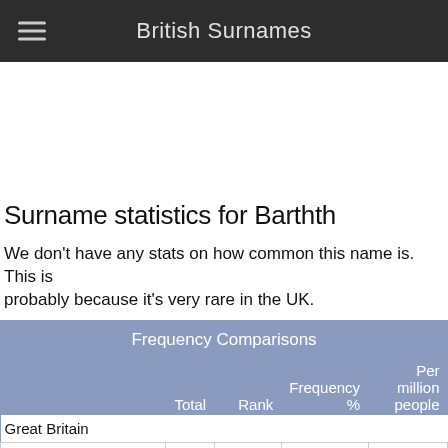British Surnames
Surname statistics for Barthth
We don't have any stats on how common this name is. This is probably because it's very rare in the UK.
Frequency Comparisons
|  | Total | Rank | Frequency % | Per million people |
| --- | --- | --- | --- | --- |
| Great Britain |  |  |  |  |
| United Kingdom (current) |  |  |  |  |
| United Kingdom (1881 | 3 | 190368 | 0.000 | 0 |